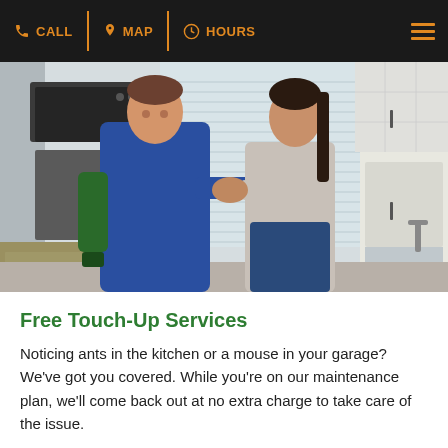CALL | MAP | HOURS
[Figure (photo): A pest control technician in a blue uniform carrying a green sprayer shakes hands with a woman in a kitchen setting. White cabinets, black oven and microwave, and a sink are visible in the background.]
Free Touch-Up Services
Noticing ants in the kitchen or a mouse in your garage? We've got you covered. While you're on our maintenance plan, we'll come back out at no extra charge to take care of the issue.